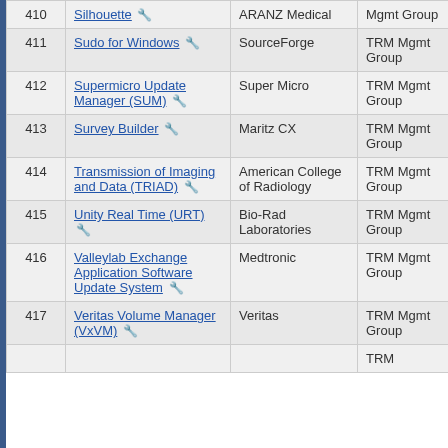| # | Name | Vendor | Group | Date | Action |
| --- | --- | --- | --- | --- | --- |
| 410 | Silhouette | ARANZ Medical | Mgmt Group | 02/29/2016 | Update |
| 411 | Sudo for Windows | SourceForge | TRM Mgmt Group | 02/29/2016 | Update |
| 412 | Supermicro Update Manager (SUM) | Super Micro | TRM Mgmt Group | 02/29/2016 | New |
| 413 | Survey Builder | Maritz CX | TRM Mgmt Group | 02/29/2016 | Update |
| 414 | Transmission of Imaging and Data (TRIAD) | American College of Radiology | TRM Mgmt Group | 02/29/2016 | Update |
| 415 | Unity Real Time (URT) | Bio-Rad Laboratories | TRM Mgmt Group | 02/29/2016 | Update |
| 416 | Valleylab Exchange Application Software Update System | Medtronic | TRM Mgmt Group | 02/29/2016 | Update |
| 417 | Veritas Volume Manager (VxVM) | Veritas | TRM Mgmt Group | 02/29/2016 | Update |
| 418 |  |  | TRM |  |  |